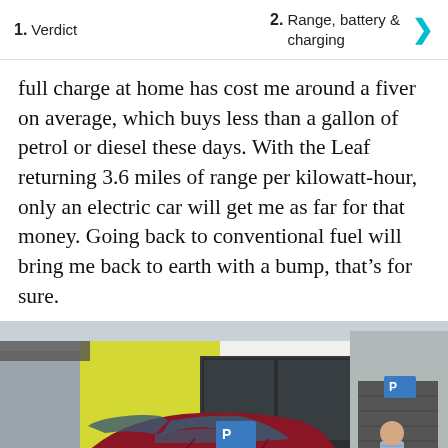1. Verdict   2. Range, battery & charging
full charge at home has cost me around a fiver on average, which buys less than a gallon of petrol or diesel these days. With the Leaf returning 3.6 miles of range per kilowatt-hour, only an electric car will get me as far for that money. Going back to conventional fuel will bring me back to earth with a bump, that’s for sure.
[Figure (photo): A dark red Nissan Leaf electric car parked on a street in front of a building with yellow cladding, with a man standing next to a charging station on the right side.]